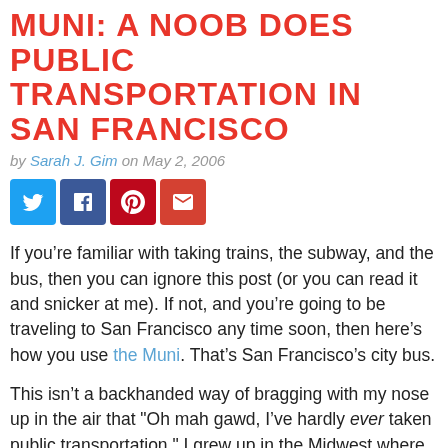MUNI: A NOOB DOES PUBLIC TRANSPORTATION IN SAN FRANCISCO
by Sarah J. Gim on May 2, 2006
[Figure (infographic): Four social media sharing buttons: Twitter (blue), Facebook (dark blue), Pinterest (red), Email (red)]
If you’re familiar with taking trains, the subway, and the bus, then you can ignore this post (or you can read it and snicker at me). If not, and you’re going to be traveling to San Francisco any time soon, then here’s how you use the Muni. That’s San Francisco’s city bus.
This isn’t a backhanded way of bragging with my nose up in the air that "Oh mah gawd, I’ve hardly ever taken public transportation." I grew up in the Midwest where the only bus I ever rode was bright yellow and went from my house to that horrible place called "school." Now, I live in LA, and we know about public transportation in LA.